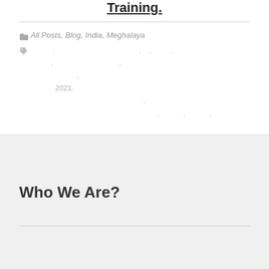Training.
All Posts, Blog, India, Meghalaya
2021,
Who We Are?